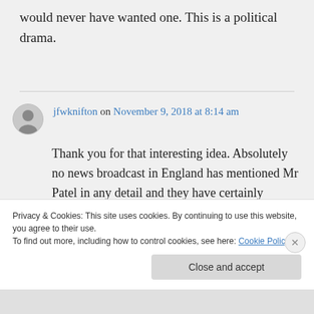would never have wanted one. This is a political drama.
jfwknifton on November 9, 2018 at 8:14 am
Thank you for that interesting idea. Absolutely no news broadcast in England has mentioned Mr Patel in any detail and they have certainly
Privacy & Cookies: This site uses cookies. By continuing to use this website, you agree to their use.
To find out more, including how to control cookies, see here: Cookie Policy
Close and accept